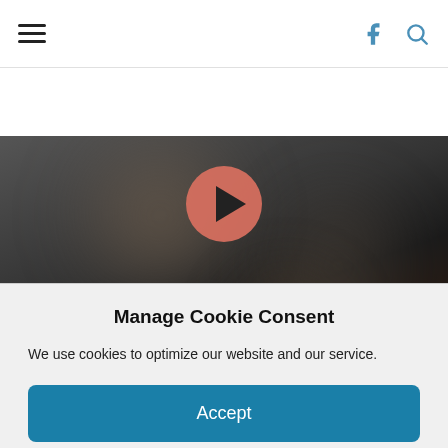[Figure (screenshot): Navigation bar with hamburger menu icon on the left and Facebook and search icons on the right]
[Figure (screenshot): Music player with blurred dark background photo, a salmon/coral play button in the center top, track artist 'The Pretenders' in white, track title 'Love Colours' in salmon/coral, and a progress bar at the bottom showing 00:00]
Manage Cookie Consent
We use cookies to optimize our website and our service.
Accept